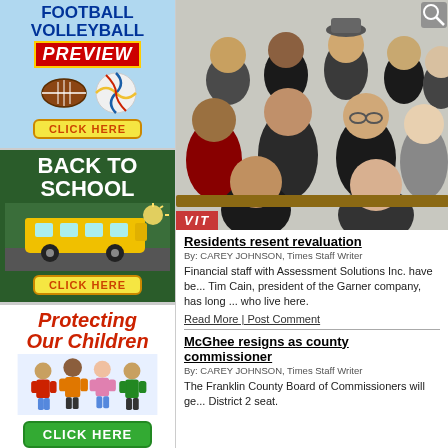[Figure (illustration): Football/Volleyball Preview ad with blue background, bold blue title text, red PREVIEW banner, sports balls, yellow CLICK HERE button]
[Figure (illustration): Back To School ad with dark green background, white bold text, school bus photo, yellow CLICK HERE button]
[Figure (illustration): Protecting Our Children ad with white background, red italic title text, photo of children, green CLICK HERE button]
[Figure (photo): Photo of residents seated and standing in a public meeting room, with a partial red banner visible at bottom left reading VIT]
Residents resent revaluation
By: CAREY JOHNSON, Times Staff Writer
Financial staff with Assessment Solutions Inc. have be... Tim Cain, president of the Garner company, has long ... who live here.
Read More | Post Comment
McGhee resigns as county commissioner
By: CAREY JOHNSON, Times Staff Writer
The Franklin County Board of Commissioners will ge... District 2 seat.